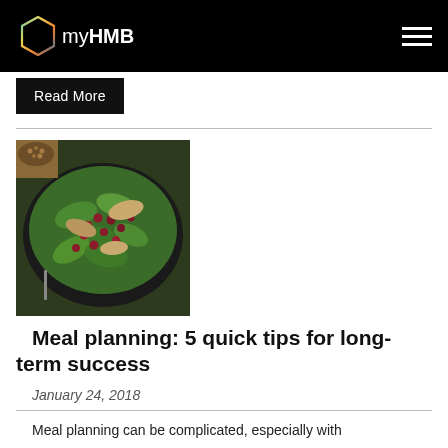myHMB
Read More
[Figure (photo): Overhead view of a dark bowl containing a green salad with spinach leaves, pomegranate seeds, and chicken pieces, with a small bowl of nuts in the upper left corner]
Meal planning: 5 quick tips for long-term success
January 24, 2018
Meal planning can be complicated, especially with